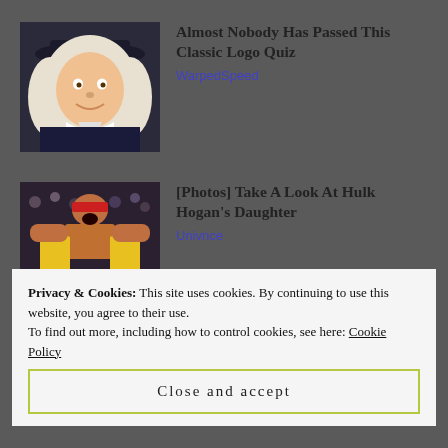[Figure (photo): Quaker Oats mascot illustration - man with white wig and black pilgrim hat smiling]
Almost Nobody Has Passed This Classic Logo Quiz
WarpedSpeed
[Figure (photo): Hulk Hogan wrestling photo collage - two images showing him in yellow and red outfit]
[Photos] Take A Look At Hulk Hogan's Daughter
Univnce
Posted in Christianity, Christmas, church, Compassion, encouragement,
Privacy & Cookies: This site uses cookies. By continuing to use this website, you agree to their use.
To find out more, including how to control cookies, see here: Cookie Policy
Close and accept